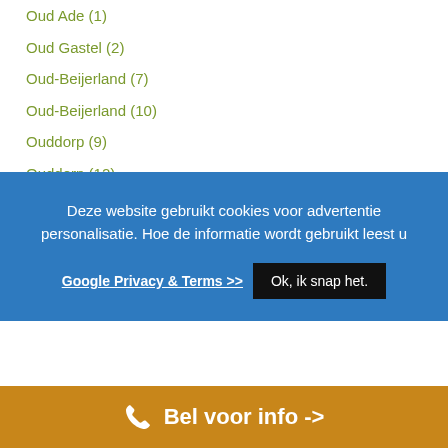Oud Ade (1)
Oud Gastel (2)
Oud-Beijerland (7)
Oud-Beijerland (10)
Ouddorp (9)
Ouddorp (12)
Deze website gebruikt cookies voor advertentie personalisatie. Hoe de informatie wordt gebruikt leest u
Google Privacy & Terms >>
Ok, ik snap het.
Ouder-Amstel (1)
Ouderkerk aan de Amstel (3)
Ouderkerk aan de Amstel (3)
Ouderkerk aan den IJssel (2)
Bel voor info ->